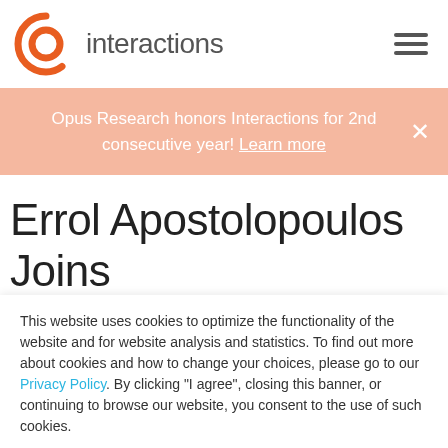[Figure (logo): Interactions logo: orange circular speech bubble icon with the word 'interactions' in gray]
Opus Research honors Interactions for 2nd consecutive year! Learn more
Errol Apostolopoulos Joins Interactions as Senior Vice
This website uses cookies to optimize the functionality of the website and for website analysis and statistics. To find out more about cookies and how to change your choices, please go to our Privacy Policy. By clicking "I agree", closing this banner, or continuing to browse our website, you consent to the use of such cookies.